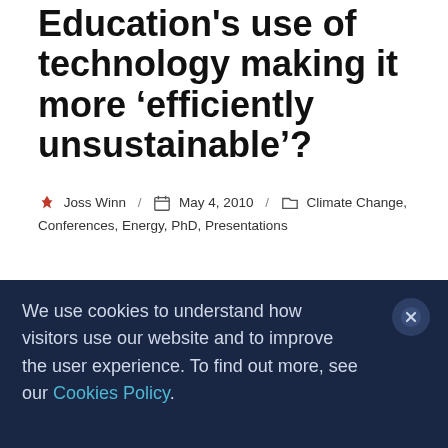workshop: Is Higher Education's use of technology making it more 'efficiently unsustainable'?
Joss Winn / May 4, 2010 / Climate Change, Conferences, Energy, PhD, Presentations
Following a few months of research and writing about energy, climate change and future scenarios for Higher Education, I'm pleased to write that
We use cookies to understand how visitors use our website and to improve the user experience. To find out more, see our Cookies Policy.